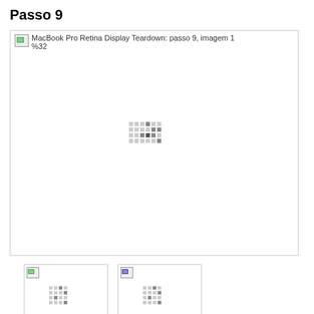Passo 9
[Figure (photo): Main image placeholder with broken image icon showing 'MacBook Pro Retina Display Teardown: passo 9, imagem 1 %32' and a loading spinner in the center]
[Figure (photo): Thumbnail 1 placeholder with broken image icon (green) and loading spinner]
[Figure (photo): Thumbnail 2 placeholder with broken image icon (blue) and loading spinner]